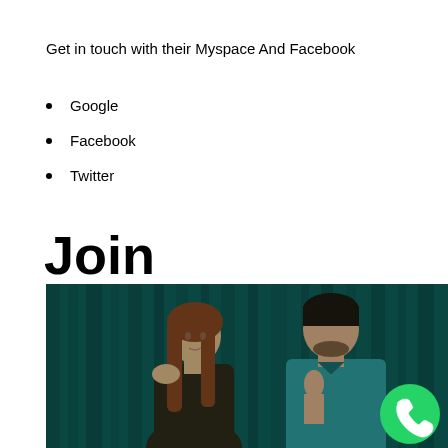Get in touch with their Myspace And Facebook
Google
Facebook
Twitter
Join
[Figure (photo): A man and woman facing each other closely in a dark teal/green background, romantic pose. A WhatsApp icon button is overlaid in the bottom right corner.]